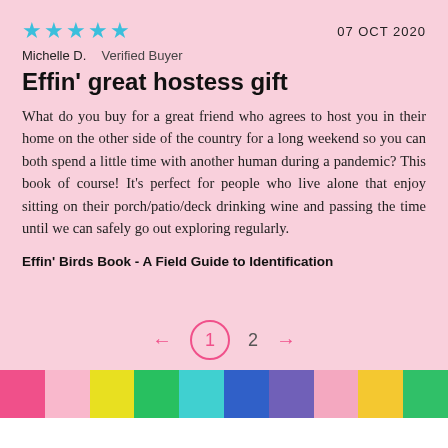★★★★★  07 OCT 2020
Michelle D.  Verified Buyer
Effin' great hostess gift
What do you buy for a great friend who agrees to host you in their home on the other side of the country for a long weekend so you can both spend a little time with another human during a pandemic? This book of course! It's perfect for people who live alone that enjoy sitting on their porch/patio/deck drinking wine and passing the time until we can safely go out exploring regularly.
Effin' Birds Book - A Field Guide to Identification
← 1 2 →